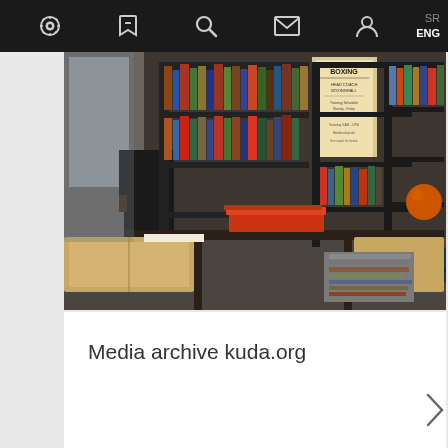SR ENG [navigation icons: settings, bookmark, search, mail, profile]
[Figure (photo): Interior of a library/archive room with tall metal bookshelves filled with books, magazines and documents. A boxing poster is visible. A desk in the foreground has books on it. An orange spherical object is visible on the right side.]
Media archive kuda.org
[Figure (photo): Partially visible photo thumbnails showing what appear to be printed materials or photographs in black and white, partially cut off at the bottom of the page.]